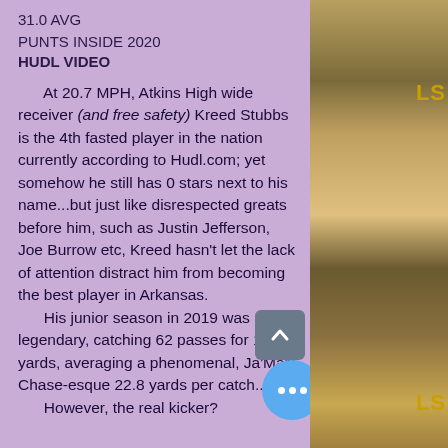31.0 AVG
PUNTS INSIDE 2020
HUDL VIDEO
At 20.7 MPH, Atkins High wide receiver (and free safety) Kreed Stubbs is the 4th fasted player in the nation currently according to Hudl.com; yet somehow he still has 0 stars next to his name...but just like disrespected greats before him, such as Justin Jefferson, Joe Burrow etc, Kreed hasn't let the lack of attention distract him from becoming the best player in Arkansas. His junior season in 2019 was legendary, catching 62 passes for 1,413 yards, averaging a phenomenal, Ja'Marr Chase-esque 22.8 yards per catch... However, the real kicker?
[Figure (photo): Photo collage of football players with LSU branding on the right side of the page]